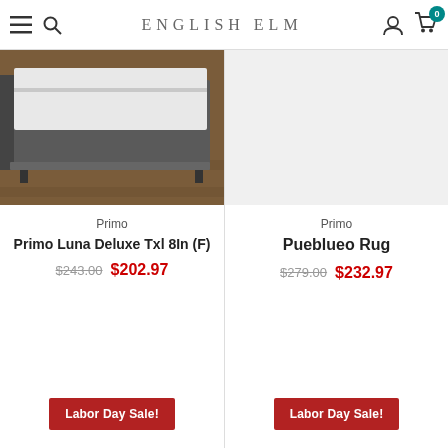ENGLISH ELM
[Figure (photo): Photo of a gray upholstered bed frame with mattress on hardwood floor]
Primo
Primo Luna Deluxe Txl 8In (F)
$243.00  $202.97
Labor Day Sale!
Primo
Pueblueo Rug
$279.00  $232.97
Labor Day Sale!